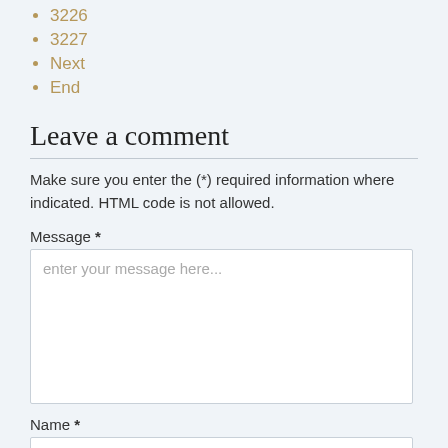3226
3227
Next
End
Leave a comment
Make sure you enter the (*) required information where indicated. HTML code is not allowed.
Message *
enter your message here...
Name *
enter your name